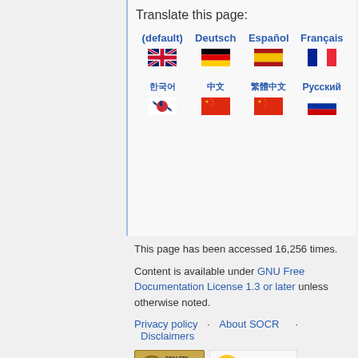Translate this page:
[Figure (infographic): Language selection widget showing flags and language names: (default)/UK flag, Deutsch/German flag, Español/Spanish flag, Français/French flag, It.../partial; then Korean/Korean flag, Chinese/Chinese flag, Chinese Traditional/Chinese flag, Русский/Russian flag, Ne.../partial]
This page has been accessed 16,256 times.
Content is available under GNU Free Documentation License 1.3 or later unless otherwise noted.
Privacy policy · About SOCR · Disclaimers
[Figure (logo): GNU FDL Free Doc License badge and Powered by MediaWiki badge]